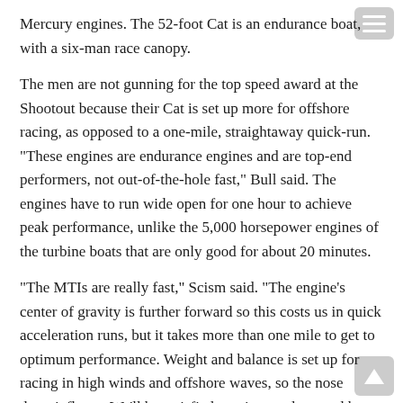Mercury engines. The 52-foot Cat is an endurance boat, with a six-man race canopy.
The men are not gunning for the top speed award at the Shootout because their Cat is set up more for offshore racing, as opposed to a one-mile, straightaway quick-run. “These engines are endurance engines and are top-end performers, not out-of-the-hole fast,” Bull said. The engines have to run wide open for one hour to achieve peak performance, unlike the 5,000 horsepower engines of the turbine boats that are only good for about 20 minutes.
“The MTIs are really fast,” Scism said. “The engine’s center of gravity is further forward so this costs us in quick acceleration runs, but it takes more than one mile to get to optimum performance. Weight and balance is set up for racing in high winds and offshore waves, so the nose doesn’t fly up. We’ll be satisfied to win our class, and have some fun at the Shootout.”
CLICK HERE TO READ MORE.